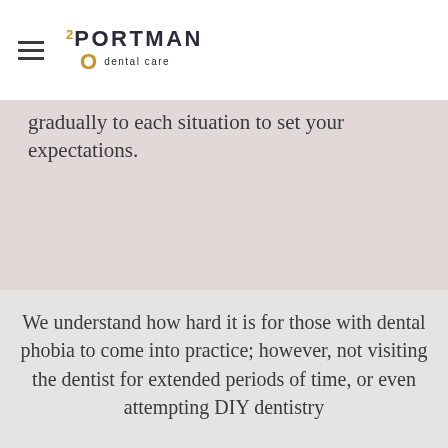2Portman dental care
gradually to each situation to set your expectations.
We understand how hard it is for those with dental phobia to come into practice; however, not visiting the dentist for extended periods of time, or even attempting DIY dentistry